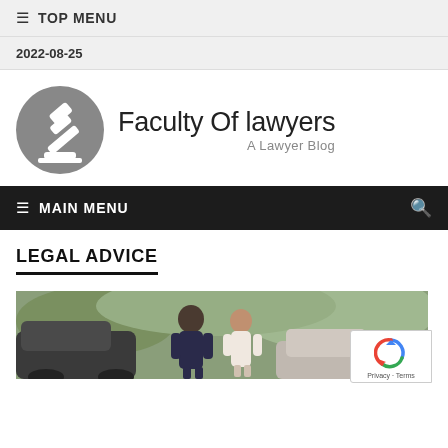≡  TOP MENU
2022-08-25
[Figure (logo): Faculty Of lawyers - A Lawyer Blog logo with gavel icon in grey circle]
≡  MAIN MENU  🔍
LEGAL ADVICE
[Figure (photo): Two people standing near a car, appearing to discuss an incident outdoors with greenery in background]